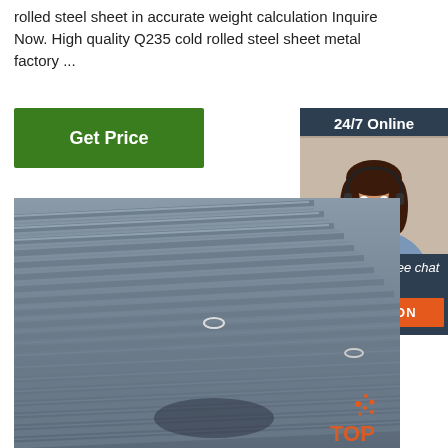rolled steel sheet in accurate weight calculation Inquire Now. High quality Q235 cold rolled steel sheet metal factory ...
[Figure (other): Green 'Get Price' button]
[Figure (other): 24/7 Online chat widget with woman wearing headset, 'Click here for free chat!' and orange QUOTATION button]
[Figure (photo): Photo of bundled steel rebar/reinforcing bars stacked together, grey metallic color, with a TOP badge in lower right corner]